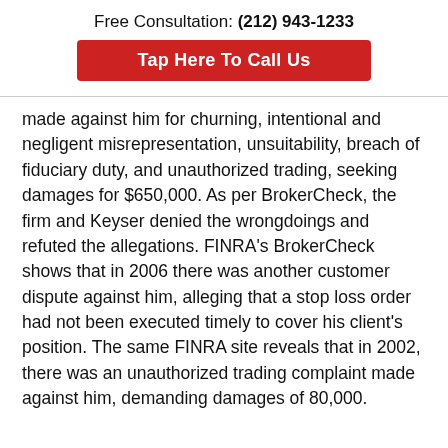Free Consultation: (212) 943-1233
[Figure (other): Red button with white text: Tap Here To Call Us]
made against him for churning, intentional and negligent misrepresentation, unsuitability, breach of fiduciary duty, and unauthorized trading, seeking damages for $650,000. As per BrokerCheck, the firm and Keyser denied the wrongdoings and refuted the allegations. FINRA’s BrokerCheck shows that in 2006 there was another customer dispute against him, alleging that a stop loss order had not been executed timely to cover his client’s position. The same FINRA site reveals that in 2002, there was an unauthorized trading complaint made against him, demanding damages of 80,000.